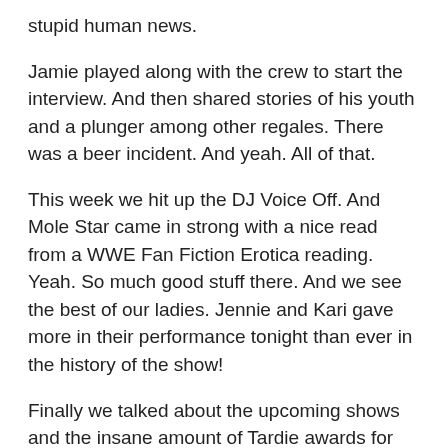stupid human news.
Jamie played along with the crew to start the interview. And then shared stories of his youth and a plunger among other regales. There was a beer incident. And yeah. All of that.
This week we hit up the DJ Voice Off. And Mole Star came in strong with a nice read from a WWE Fan Fiction Erotica reading. Yeah. So much good stuff there. And we see the best of our ladies. Jennie and Kari gave more in their performance tonight than ever in the history of the show!
Finally we talked about the upcoming shows and the insane amount of Tardie awards for the show. Great show. And don't listen around small kids or bosses.
Hashtags of the week: #TPaining, #FiveFingerDeathPlunge, #ButtholeLubeAndTub, #Investimizetiting, #OnlyInFlorida